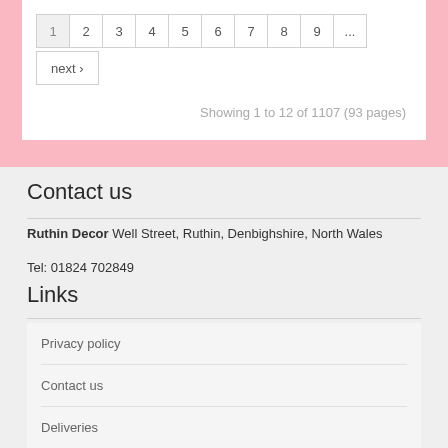1 2 3 4 5 6 7 8 9 ... next ›
Showing 1 to 12 of 1107 (93 pages)
Contact us
Ruthin Decor Well Street, Ruthin, Denbighshire, North Wales
Tel: 01824 702849
Links
Privacy policy
Contact us
Deliveries
Returns policy